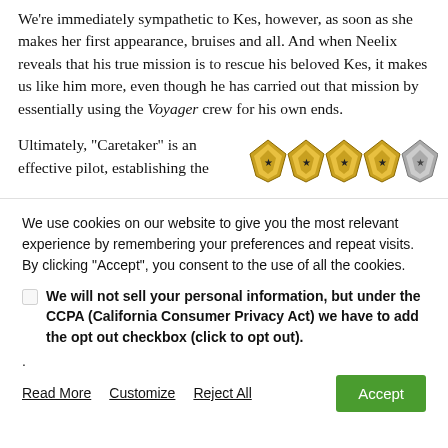We're immediately sympathetic to Kes, however, as soon as she makes her first appearance, bruises and all. And when Neelix reveals that his true mission is to rescue his beloved Kes, it makes us like him more, even though he has carried out that mission by essentially using the Voyager crew for his own ends.
Ultimately, "Caretaker" is an effective pilot, establishing the
[Figure (illustration): Five Star Trek communicator badge icons in a row: four gold/yellow and one silver/grey]
We use cookies on our website to give you the most relevant experience by remembering your preferences and repeat visits. By clicking "Accept", you consent to the use of all the cookies.
We will not sell your personal information, but under the CCPA (California Consumer Privacy Act) we have to add the opt out checkbox (click to opt out).
.
Read More   Customize   Reject All   Accept